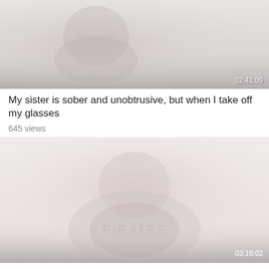[Figure (screenshot): Video thumbnail showing a faded/washed out image with a person, with timestamp 02:41:09 in bottom right corner]
My sister is sober and unobtrusive, but when I take off my glasses
645 views
[Figure (screenshot): Video thumbnail showing a faded/washed out image of a person wearing a shirt with text/logo, with timestamp 03:16:02 in bottom right corner]